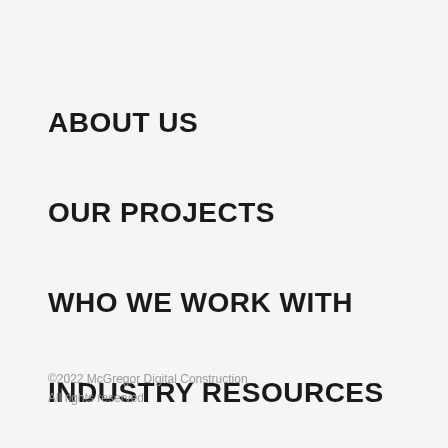ABOUT US
OUR PROJECTS
WHO WE WORK WITH
INDUSTRY RESOURCES
©2022 McGregor Digital Construction
All rights reserved